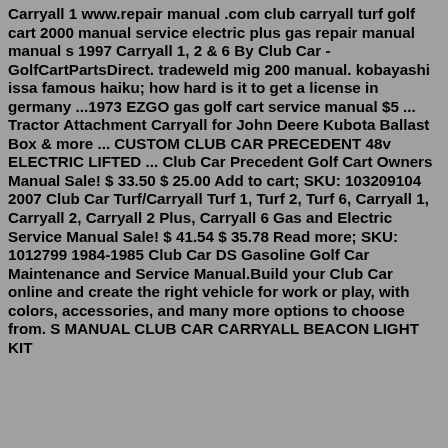Carryall 1 www.repair manual .com club carryall turf golf cart 2000 manual service electric plus gas repair manual manual s 1997 Carryall 1, 2 & 6 By Club Car - GolfCartPartsDirect. tradeweld mig 200 manual. kobayashi issa famous haiku; how hard is it to get a license in germany ...1973 EZGO gas golf cart service manual $5 ... Tractor Attachment Carryall for John Deere Kubota Ballast Box & more ... CUSTOM CLUB CAR PRECEDENT 48v ELECTRIC LIFTED ... Club Car Precedent Golf Cart Owners Manual Sale! $ 33.50 $ 25.00 Add to cart; SKU: 103209104 2007 Club Car Turf/Carryall Turf 1, Turf 2, Turf 6, Carryall 1, Carryall 2, Carryall 2 Plus, Carryall 6 Gas and Electric Service Manual Sale! $ 41.54 $ 35.78 Read more; SKU: 1012799 1984-1985 Club Car DS Gasoline Golf Car Maintenance and Service Manual.Build your Club Car online and create the right vehicle for work or play, with colors, accessories, and many more options to choose from. S MANUAL CLUB CAR CARRYALL BEACON LIGHT KIT 4/... 47507419001 (* Not in catalog, easy access)